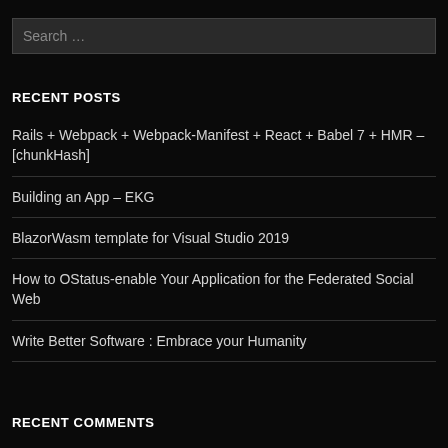Search …
RECENT POSTS
Rails + Webpack + Webpack-Manifest + React + Babel 7 + HMR – [chunkHash]
Building an App – EKG
BlazorWasm template for Visual Studio 2019
How to OStatus-enable Your Application for the Federated Social Web
Write Better Software : Embrace your Humanity
RECENT COMMENTS